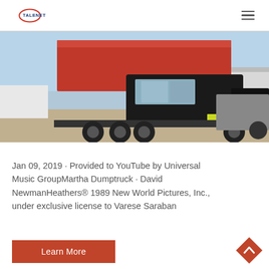TALENET
[Figure (photo): A red dump truck photographed from the front-left angle in a commercial/industrial yard area. The truck has a red tipper body and black cab.]
Jan 09, 2019 · Provided to YouTube by Universal Music GroupMartha Dumptruck · David NewmanHeathers® 1989 New World Pictures, Inc., under exclusive license to Varese Saraban
Learn More